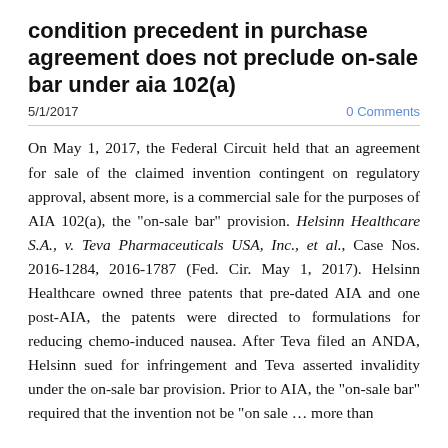condition precedent in purchase agreement does not preclude on-sale bar under aia 102(a)
5/1/2017
0 Comments
On May 1, 2017, the Federal Circuit held that an agreement for sale of the claimed invention contingent on regulatory approval, absent more, is a commercial sale for the purposes of AIA 102(a), the "on-sale bar" provision. Helsinn Healthcare S.A., v. Teva Pharmaceuticals USA, Inc., et al., Case Nos. 2016-1284, 2016-1787 (Fed. Cir. May 1, 2017). Helsinn Healthcare owned three patents that pre-dated AIA and one post-AIA, the patents were directed to formulations for reducing chemo-induced nausea. After Teva filed an ANDA, Helsinn sued for infringement and Teva asserted invalidity under the on-sale bar provision. Prior to AIA, the “on-sale bar” required that the invention not be “on sale … more than